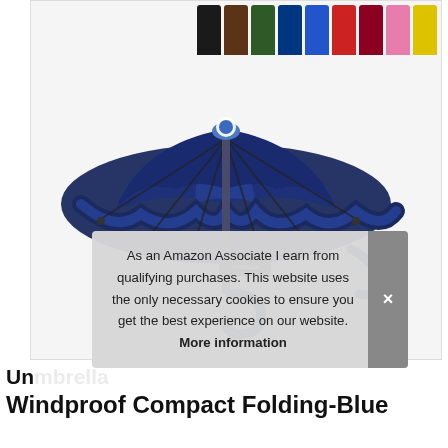[Figure (photo): Product photo of a navy blue windproof compact folding umbrella shown open from below, with color swatch thumbnails of various umbrella colors in the top right corner (black, brown, dark green, cobalt blue, royal blue, red, dark red, pink, yellow)]
As an Amazon Associate I earn from qualifying purchases. This website uses the only necessary cookies to ensure you get the best experience on our website. More information
Windproof Compact Folding-Blue